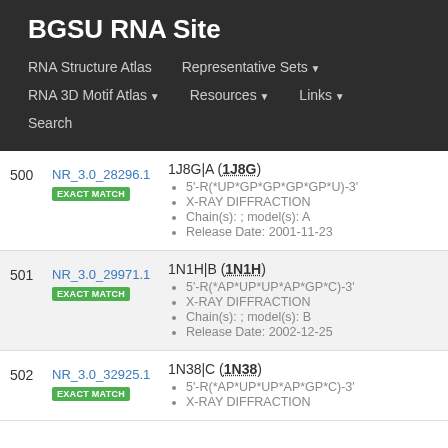BGSU RNA Site
RNA Structure Atlas | Representative Sets ▼ | RNA 3D Motif Atlas ▼ | Resources ▼ | Links ▼ | Search
| # | ID | Details |
| --- | --- | --- |
| 500 | NR_3.0_28296.1 EXACT MATCH | 1J8G|A (1J8G)
• 5'-R(*UP*GP*GP*GP*GP*U)-3'
• X-RAY DIFFRACTION
• Chain(s): ; model(s): A
• Release Date: 2001-11-23 |
| 501 | NR_3.0_29971.1 EXACT MATCH | 1N1H|B (1N1H)
• 5'-R(*AP*UP*UP*AP*GP*C)-3'
• X-RAY DIFFRACTION
• Chain(s): ; model(s): B
• Release Date: 2002-12-25 |
| 502 | NR_3.0_32925.1 EXACT MATCH | 1N38|C (1N38)
• 5'-R(*AP*UP*UP*AP*GP*C)-3'
• X-RAY DIFFRACTION |